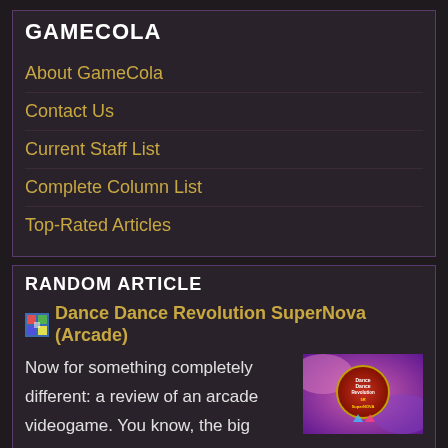GAMECOLA
About GameCola
Contact Us
Current Staff List
Complete Column List
Top-Rated Articles
RANDOM ARTICLE
Dance Dance Revolution SuperNova (Arcade)
Now for something completely different: a review of an arcade videogame. You know, the big machines you pump quarters into? This review does contain Emi Toshiba, so there is at least one good reason t
[Figure (photo): Thumbnail image for Dance Dance Revolution SuperNova arcade game]
Not interested? Try another »